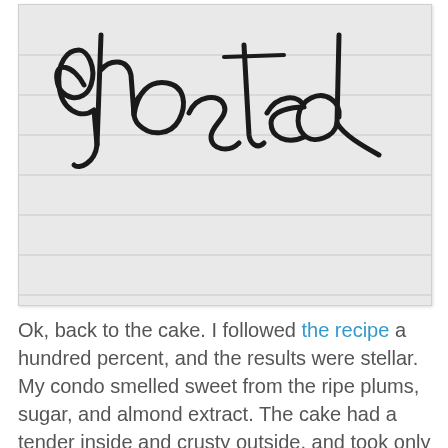[Figure (illustration): Handwritten cursive word 'ghosted' in black ink on lined paper background]
Ok, back to the cake. I followed the recipe a hundred percent, and the results were stellar. My condo smelled sweet from the ripe plums, sugar, and almond extract. The cake had a tender inside and crusty outside, and took only minutes to put together.